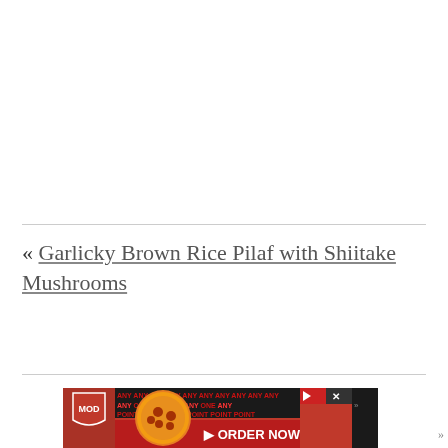« Garlicky Brown Rice Pilaf with Shiitake Mushrooms
[Figure (photo): MOD Pizza advertisement banner showing a pizza image with red background and 'ANY' text pattern, with an 'ORDER NOW' call-to-action button and close button]